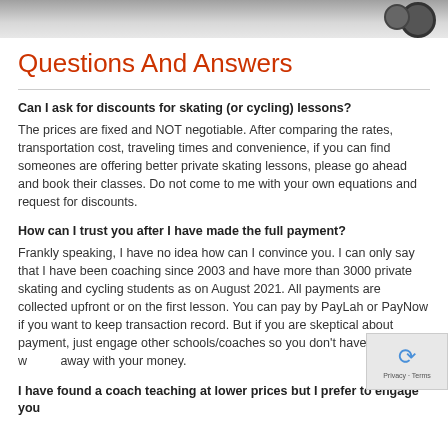[Figure (photo): Photo strip at top of page showing a dark background with gear/wheel shapes visible at top right]
Questions And Answers
Can I ask for discounts for skating (or cycling) lessons?
The prices are fixed and NOT negotiable. After comparing the rates, transportation cost, traveling times and convenience, if you can find someones are offering better private skating lessons, please go ahead and book their classes. Do not come to me with your own equations and request for discounts.
How can I trust you after I have made the full payment?
Frankly speaking, I have no idea how can I convince you. I can only say that I have been coaching since 2003 and have more than 3000 private skating and cycling students as on August 2021. All payments are collected upfront or on the first lesson. You can pay by PayLah or PayNow if you want to keep transaction record. But if you are skeptical about payment, just engage other schools/coaches so you don't have to worry I will run away with your money.
I have found a coach teaching at lower prices but I prefer to engage you